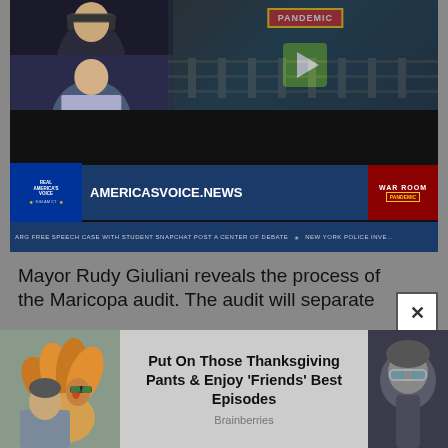[Figure (screenshot): Video player screenshot showing a news broadcast on AmericasVoice.News / War Room Pandemic. Two video panels on the left show news personalities; the main panel shows a rail yard scene with a play button overlay and a 'PANDEMIC' banner. A lower-third graphic shows 'AMERICASVOICE.NEWS' and 'WAR ROOM PANDEMIC' logos. A ticker reads 'ARG FREE SPEECH CASE WITH STUDENT SNAPCHAT POST A CENTER OF DEBATE  NEW YORK POLICE INVE…']
Mayor Rudy Giuliani reveals the process of the Maricopa audit. The audit will separate
[Figure (screenshot): Advertisement banner: left image shows a turkey and person (Friends TV show reference), center text reads 'Put On Those Thanksgiving Pants & Enjoy \'Friends\' Best Episodes' with source 'Brainberries', right shows a person with sunglasses.]